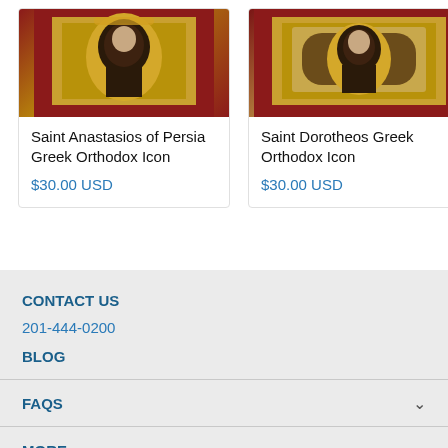[Figure (photo): Saint Anastasios of Persia Greek Orthodox Icon product image - religious icon with gold and dark red colors]
Saint Anastasios of Persia Greek Orthodox Icon
$30.00 USD
[Figure (photo): Saint Dorotheos Greek Orthodox Icon product image - religious icon with gold and dark red colors]
Saint Dorotheos Greek Orthodox Icon
$30.00 USD
CONTACT US
201-444-0200
BLOG
FAQS
MORE